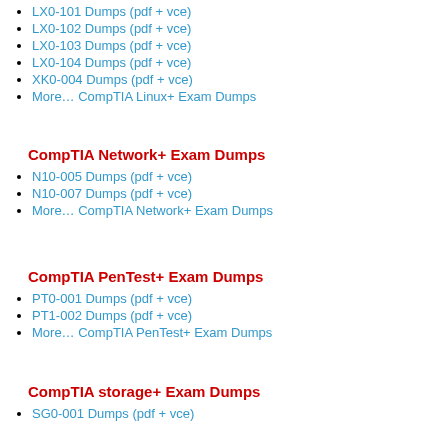LX0-101 Dumps (pdf + vce)
LX0-102 Dumps (pdf + vce)
LX0-103 Dumps (pdf + vce)
LX0-104 Dumps (pdf + vce)
XK0-004 Dumps (pdf + vce)
More… CompTIA Linux+ Exam Dumps
CompTIA Network+ Exam Dumps
N10-005 Dumps (pdf + vce)
N10-007 Dumps (pdf + vce)
More… CompTIA Network+ Exam Dumps
CompTIA PenTest+ Exam Dumps
PT0-001 Dumps (pdf + vce)
PT1-002 Dumps (pdf + vce)
More… CompTIA PenTest+ Exam Dumps
CompTIA storage+ Exam Dumps
SG0-001 Dumps (pdf + vce)